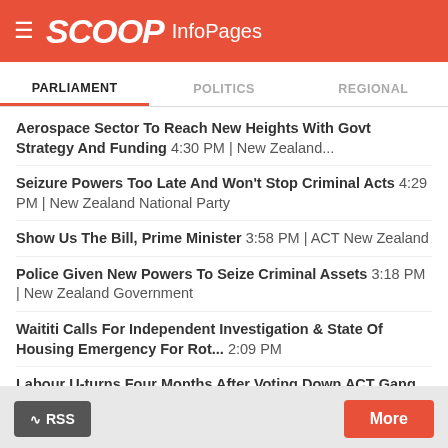SCOOP InfoPages
PARLIAMENT | POLITICS | REGIONAL
Aerospace Sector To Reach New Heights With Govt Strategy And Funding 4:30 PM | New Zealand...
Seizure Powers Too Late And Won't Stop Criminal Acts 4:29 PM | New Zealand National Party
Show Us The Bill, Prime Minister 3:58 PM | ACT New Zealand
Police Given New Powers To Seize Criminal Assets 3:18 PM | New Zealand Government
Waititi Calls For Independent Investigation & State Of Housing Emergency For Rot... 2:09 PM
Labour U-turns Four Months After Voting Down ACT Gang Bill 11:39 AM | ACT New Zealand
Rotorua Emergency Housing Shows Govt Failure 10:46 AM | New Zealand National Party
RSS  More